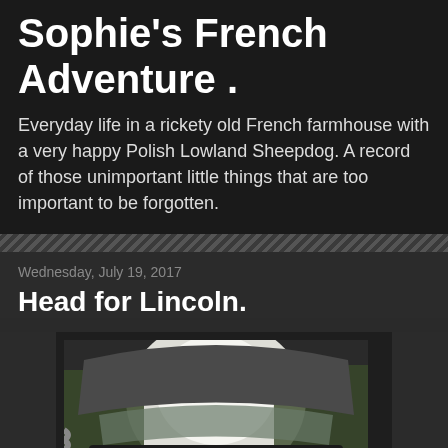Sophie's French Adventure .
Everyday life in a rickety old French farmhouse with a very happy Polish Lowland Sheepdog. A record of those unimportant little things that are too important to be forgotten.
Wednesday, July 19, 2017
Head for Lincoln.
[Figure (photo): Photo of the open trunk/boot of a vehicle loaded with luggage, viewed from behind, with trees visible in the background. The vehicle appears to be red.]